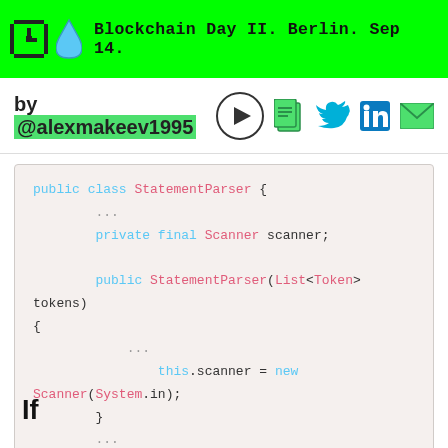Blockchain Day II. Berlin. Sep 14.
by @alexmakeev1995
[Figure (screenshot): Java code block showing StatementParser class with private final Scanner field and constructor initializing this.scanner = new Scanner(System.in)]
If